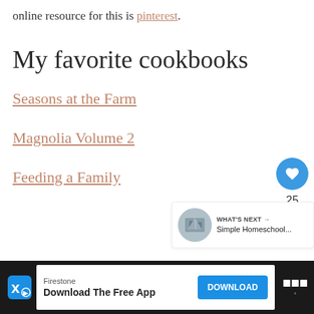online resource for this is pinterest.
My favorite cookbooks
Seasons at the Farm
Magnolia Volume 2
Feeding a Family